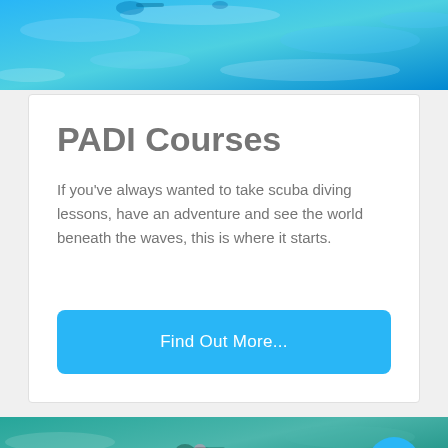[Figure (photo): Aerial/surface view of a swimming pool or ocean with turquoise blue water and ripples, a person snorkeling visible at the top.]
PADI Courses
If you've always wanted to take scuba diving lessons, have an adventure and see the world beneath the waves, this is where it starts.
Find Out More...
[Figure (photo): Underwater/surface photo of a person snorkeling or scuba diving in teal/green water.]